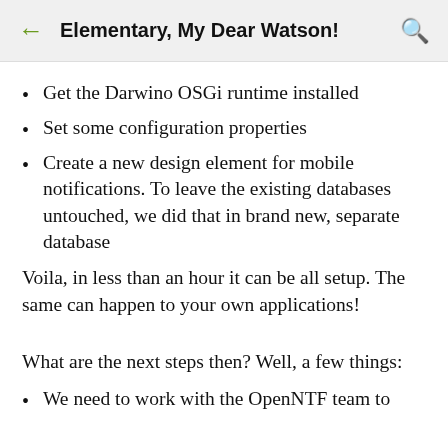Elementary, My Dear Watson!
Get the Darwino OSGi runtime installed
Set some configuration properties
Create a new design element for mobile notifications. To leave the existing databases untouched, we did that in brand new, separate database
Voila, in less than an hour it can be all setup. The same can happen to your own applications!
What are the next steps then? Well, a few things:
We need to work with the OpenNTF team to